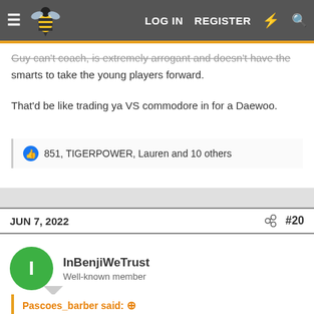LOG IN  REGISTER
Guy can't coach, is extremely arrogant and doesn't have the smarts to take the young players forward.
That'd be like trading ya VS commodore in for a Daewoo.
851, TIGERPOWER, Lauren and 10 others
JUN 7, 2022   #20
InBenjiWeTrust
Well-known member
Pascoes_barber said:
Fold the joint and ship it over to WA.